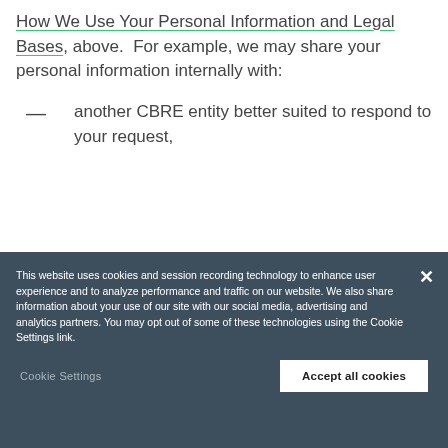How We Use Your Personal Information and Legal Bases, above.  For example, we may share your personal information internally with:
— another CBRE entity better suited to respond to your request,
This website uses cookies and session recording technology to enhance user experience and to analyze performance and traffic on our website. We also share information about your use of our site with our social media, advertising and analytics partners. You may opt out of some of these technologies using the Cookie Settings link.